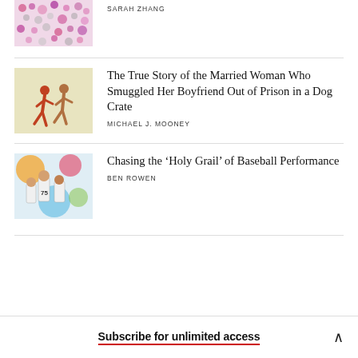[Figure (illustration): Colorful abstract illustration with pink and purple circular shapes on a white/grey background — partial view at top of page]
SARAH ZHANG
[Figure (illustration): Two running figures (one red, one tan) on a light olive/tan background]
The True Story of the Married Woman Who Smuggled Her Boyfriend Out of Prison in a Dog Crate
MICHAEL J. MOONEY
[Figure (photo): Baseball players in white uniforms, number 75 visible, with colorful artistic background]
Chasing the ‘Holy Grail’ of Baseball Performance
BEN ROWEN
Subscribe for unlimited access